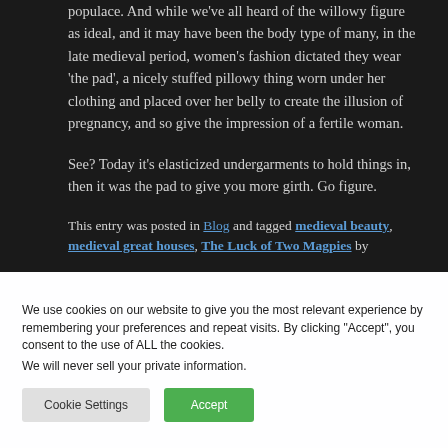populace. And while we've all heard of the willowy figure as ideal, and it may have been the body type of many, in the late medieval period, women's fashion dictated they wear 'the pad', a nicely stuffed pillowy thing worn under her clothing and placed over her belly to create the illusion of pregnancy, and so give the impression of a fertile woman.
See? Today it's elasticized undergarments to hold things in, then it was the pad to give you more girth. Go figure.
This entry was posted in Blog and tagged medieval beauty, medieval great houses, The Luck of Two Magpies by
We use cookies on our website to give you the most relevant experience by remembering your preferences and repeat visits. By clicking "Accept", you consent to the use of ALL the cookies.
We will never sell your private information.